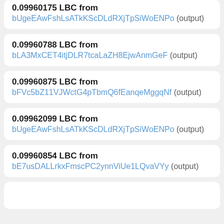0.09960175 LBC from bUgeEAwFshLsATkKScDLdRXjTpSiWoENPo (output)
0.09960788 LBC from bLA3MxCET4itjDLR7tcaLaZH8EjwAnmGeF (output)
0.09960875 LBC from bFVc5bZ11VJWctG4pTbmQ6fEanqeMggqNf (output)
0.09962099 LBC from bUgeEAwFshLsATkKScDLdRXjTpSiWoENPo (output)
0.09960854 LBC from bE7usDALLrkxFmscPC2ynnViUe1LQvaVYy (output)